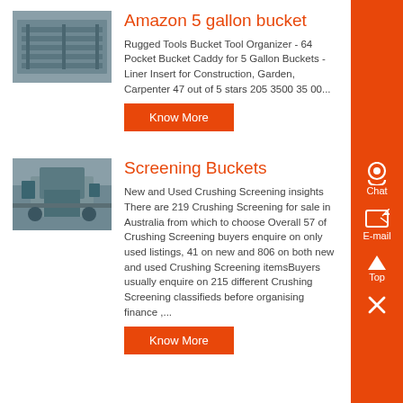Amazon 5 gallon bucket
Rugged Tools Bucket Tool Organizer - 64 Pocket Bucket Caddy for 5 Gallon Buckets - Liner Insert for Construction, Garden, Carpenter 47 out of 5 stars 205 3500 35 00...
[Figure (photo): Photo of industrial machinery/equipment in a factory setting]
Screening Buckets
New and Used Crushing Screening insights There are 219 Crushing Screening for sale in Australia from which to choose Overall 57 of Crushing Screening buyers enquire on only used listings, 41 on new and 806 on both new and used Crushing Screening itemsBuyers usually enquire on 215 different Crushing Screening classifieds before organising finance ,...
[Figure (photo): Photo of crushing/screening industrial machinery outdoors]